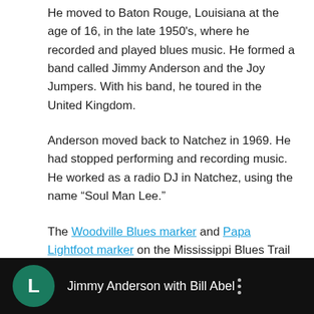He moved to Baton Rouge, Louisiana at the age of 16, in the late 1950's, where he recorded and played blues music. He formed a band called Jimmy Anderson and the Joy Jumpers. With his band, he toured in the United Kingdom.
Anderson moved back to Natchez in 1969. He had stopped performing and recording music. He worked as a radio DJ in Natchez, using the name “Soul Man Lee.”
The Woodville Blues marker and Papa Lightfoot marker on the Mississippi Blues Trail mention Anderson.
Anderson died in 2013 in Natchez.
[Figure (screenshot): Video thumbnail showing a dark bar with a green circular icon with letter L, and white text reading 'Jimmy Anderson with Bill Abel'. A 'Return to Top' button with a chevron arrow is visible overlaid at upper right.]